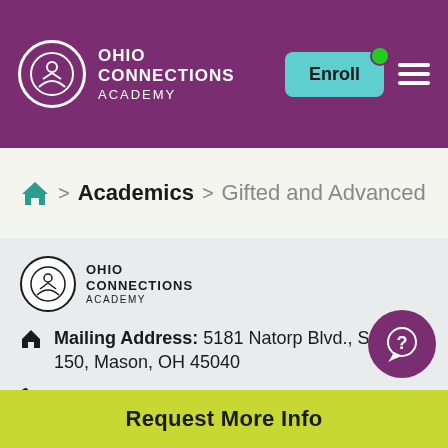Ohio Connections Academy — Enroll
Home > Academics > Gifted and Advanced
[Figure (logo): Ohio Connections Academy footer logo — circular emblem with figure, text OHIO CONNECTIONS ACADEMY]
Mailing Address: 5181 Natorp Blvd., Suite 150, Mason, OH 45040
Office Address: 3615 Superior Avenue, Suite 3102B, Cleveland, OH 44114
Request More Info